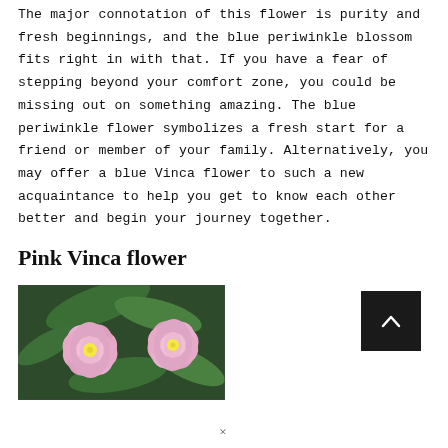The major connotation of this flower is purity and fresh beginnings, and the blue periwinkle blossom fits right in with that. If you have a fear of stepping beyond your comfort zone, you could be missing out on something amazing. The blue periwinkle flower symbolizes a fresh start for a friend or member of your family. Alternatively, you may offer a blue Vinca flower to such a new acquaintance to help you get to know each other better and begin your journey together.
Pink Vinca flower
[Figure (photo): Close-up photo of pink Vinca (periwinkle) flowers with green leaves in the background]
[Figure (other): Dark square button with a white upward-pointing chevron arrow]